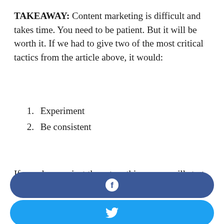TAKEAWAY: Content marketing is difficult and takes time. You need to be patient. But it will be worth it. If we had to give two of the most critical tactics from the article above, it would:
1. Experiment
2. Be consistent
If you do even just these two things, you will start seeing results.
[Figure (other): Facebook share button (dark blue rounded rectangle with Facebook 'f' icon)]
[Figure (other): Twitter share button (light blue rounded rectangle with Twitter bird icon)]